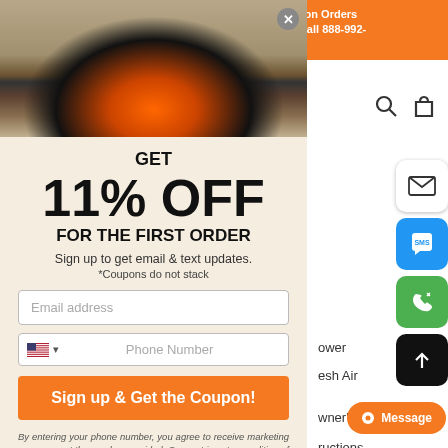[Figure (screenshot): Website popup modal offering 11% off for first order, with fireplace image, email and phone fields, and sign up button. Orange banner top right showing returns/contact info. Side action buttons on right.]
Returns on Orders Text or Call 888-992-... /Week.
GET
11% OFF
FOR THE FIRST ORDER
Sign up to get email & text updates.
*Coupons do not stack
Email address
Phone Number
Sign up & Get the Coupon!
By entering your phone number, you agree to receive marketing messages at the number provided. Consent is not a condition of purchase. Message and data rates may apply. Message frequency
ower
esh Air
owner's
ructions
Message